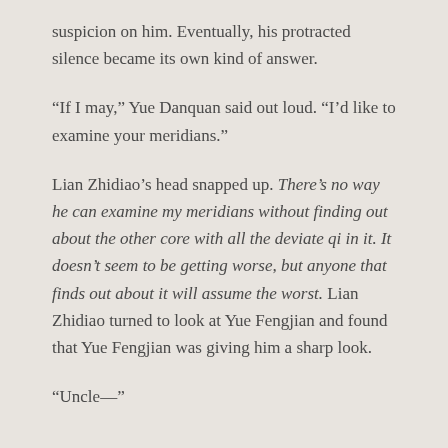suspicion on him. Eventually, his protracted silence became its own kind of answer.
“If I may,” Yue Danquan said out loud. “I’d like to examine your meridians.”
Lian Zhidiao’s head snapped up. There’s no way he can examine my meridians without finding out about the other core with all the deviate qi in it. It doesn’t seem to be getting worse, but anyone that finds out about it will assume the worst. Lian Zhidiao turned to look at Yue Fengjian and found that Yue Fengjian was giving him a sharp look.
“Uncle—”